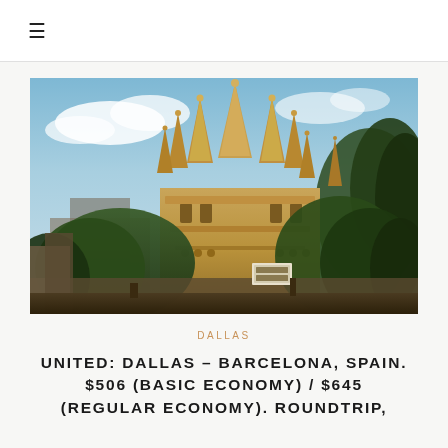≡
[Figure (photo): Photograph of the Sagrada Família basilica in Barcelona, Spain, showing its ornate Gothic spires against a partly cloudy blue sky, with trees and buildings in the foreground.]
DALLAS
UNITED: DALLAS – BARCELONA, SPAIN. $506 (BASIC ECONOMY) / $645 (REGULAR ECONOMY). ROUNDTRIP,